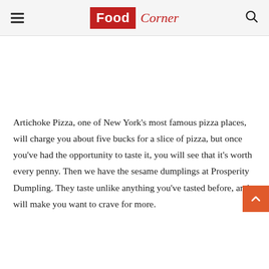Food Corner
Artichoke Pizza, one of New York's most famous pizza places, will charge you about five bucks for a slice of pizza, but once you've had the opportunity to taste it, you will see that it's worth every penny. Then we have the sesame dumplings at Prosperity Dumpling. They taste unlike anything you've tasted before, and will make you want to crave for more.